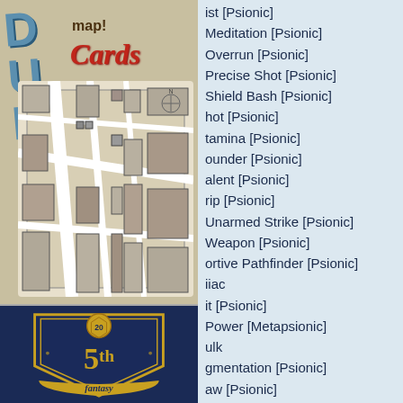[Figure (illustration): Dungeon Cards product image with map illustration - shows 'map!' text at top, 'Cards' in red cursive script, and a detailed black and white fantasy city/dungeon map]
[Figure (logo): 5th Fantasy logo - dark blue shield/crest badge with gold d20 die at top, '5th' in large gold numerals, and 'fantasy' in gold ribbon at bottom]
ist [Psionic]
Meditation [Psionic]
Overrun [Psionic]
Precise Shot [Psionic]
Shield Bash [Psionic]
hot [Psionic]
tamina [Psionic]
ounder [Psionic]
alent [Psionic]
rip [Psionic]
Unarmed Strike [Psionic]
Weapon [Psionic]
ortive Pathfinder [Psionic]
iiac
it [Psionic]
Power [Metapsionic]
ulk
gmentation [Psionic]
aw [Psionic]